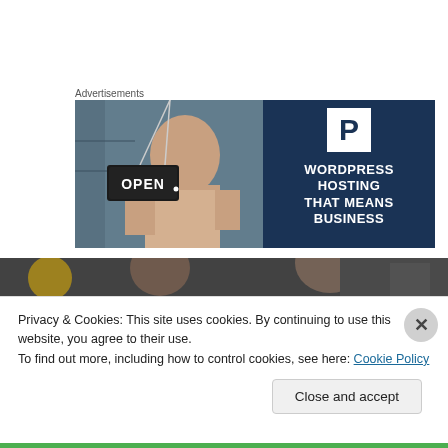Advertisements
[Figure (photo): WordPress Hosting advertisement banner. Left half shows a woman smiling holding an OPEN sign in a shop. Right half has dark navy background with a white P logo and text 'WORDPRESS HOSTING THAT MEANS BUSINESS'.]
[Figure (photo): Partial photo of people in what appears to be a transit or restaurant setting, partially obscured by cookie consent banner.]
Privacy & Cookies: This site uses cookies. By continuing to use this website, you agree to their use.
To find out more, including how to control cookies, see here: Cookie Policy
Close and accept